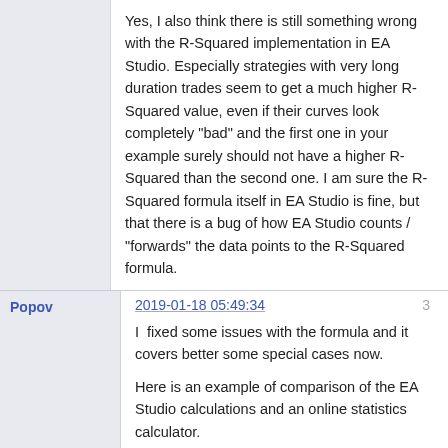Yes, I also think there is still something wrong with the R-Squared implementation in EA Studio. Especially strategies with very long duration trades seem to get a much higher R-Squared value, even if their curves look completely "bad" and the first one in your example surely should not have a higher R-Squared than the second one. I am sure the R-Squared formula itself in EA Studio is fine, but that there is a bug of how EA Studio counts / "forwards" the data points to the R-Squared formula.

Mr. Popov?
Popov
2019-01-18 05:49:34
3
I  fixed some issues with the formula and it covers better some special cases now.

Here is an example of comparison of the EA Studio calculations and an online statistics calculator.
[Figure (screenshot): Screenshot of EA Studio interface showing a comparison with an online statistics calculator]